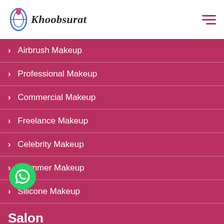Khoobsurat
Airbrush Makeup
Professional Makeup
Commercial Makeup
Freelance Makeup
Celebrity Makeup
Shimmer Makeup
Silicone Makeup
Salon
Salon
Facial Services